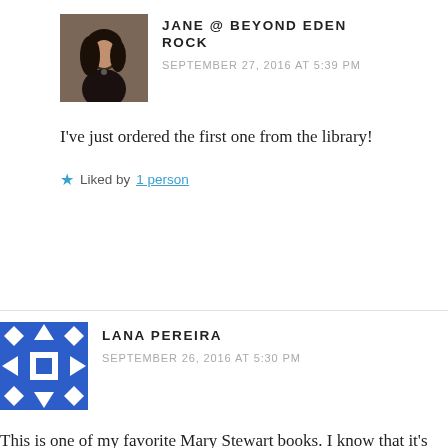[Figure (photo): Avatar photo of Jane, a painted portrait of a woman with dark hair]
JANE @ BEYOND EDEN ROCK
SEPTEMBER 27, 2016 AT 5:39 PM
I've just ordered the first one from the library!
Liked by 1 person
[Figure (illustration): Avatar icon for Lana Pereira: blue and white geometric pattern]
LANA PEREIRA
SEPTEMBER 26, 2016 AT 5:30 PM
This is one of my favorite Mary Stewart books. I know that it's annoying that Vanessa has given up her career,